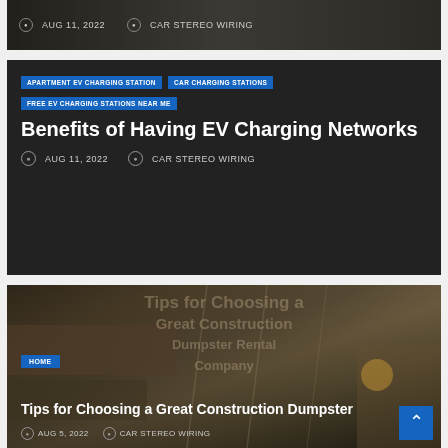[Figure (screenshot): Top dark image card with date and author metadata: AUG 11, 2022 and CAR STEREO WIRING]
AUG 11, 2022   CAR STEREO WIRING
[Figure (screenshot): Dark background article card with blue category tags and article title]
APARTMENT EV CHARGING STATION
CAR CHARGING STATIONS
FREE EV CHARGING STATIONS NEAR ME
Benefits of Having EV Charging Networks
AUG 11, 2022   CAR STEREO WIRING
[Figure (photo): Construction site background image with overlaid text showing Tips for Choosing a Great Construction Dumpster Company]
HOME
Tips for Choosing a Great Construction Dumpster
AUG 5, 2022   CAR STEREO WIRING